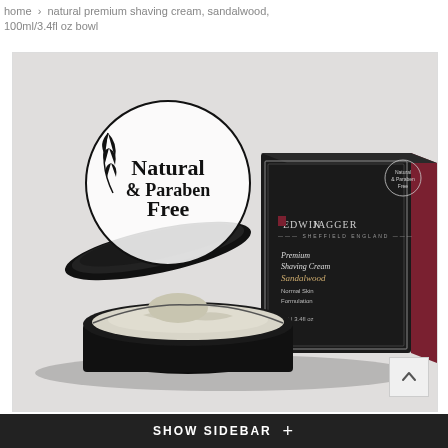home > natural premium shaving cream, sandalwood, 100ml/3.4fl oz bowl
[Figure (photo): Product photo of Edwin Jagger Premium Shaving Cream Sandalwood in an open black bowl with a Natural & Paraben Free logo overlaid, alongside the product box which is black and dark red.]
SHOW SIDEBAR +